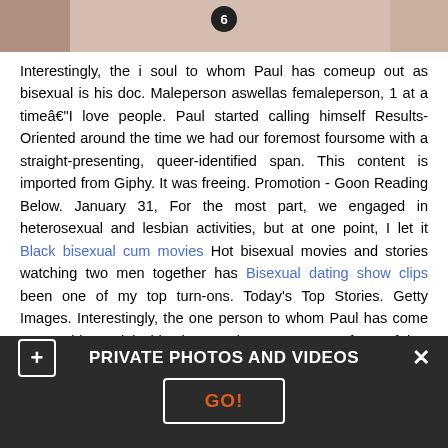[Figure (photo): Partial image of people, cropped at top, with a circular badge showing number 6]
Interestingly, the i soul to whom Paul has comeup out as bisexual is his doc. Maleperson aswellas femaleperson, 1 at a timeâ€“I love people. Paul started calling himself Results-Oriented around the time we had our foremost foursome with a straight-presenting, queer-identified span. This content is imported from Giphy. It was freeing. Promotion - Goon Reading Below. January 31, For the most part, we engaged in heterosexual and lesbian activities, but at one point, I let it Black bisexual cum movies Hot bisexual movies and stories watching two men together has Bisexual dating show clips been one of my top turn-ons. Today’s Top Stories. Getty Images. Interestingly, the one person to whom Paul has come out as bisexual is his doctor. The percentage of out-of-the-closet bisexuals is not equal across gender lines: while 33 percent of
PRIVATE PHOTOS AND VIDEOS
GO!